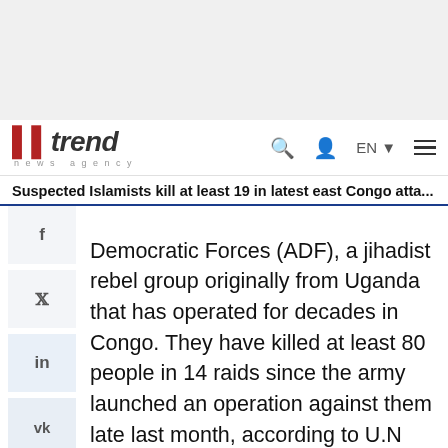[Figure (logo): Trend News Agency logo with red bars and italic text, navigation bar with search, user, EN language selector and hamburger menu icons]
Suspected Islamists kill at least 19 in latest east Congo atta...
Democratic Forces (ADF), a jihadist rebel group originally from Uganda that has operated for decades in Congo. They have killed at least 80 people in 14 raids since the army launched an operation against them late last month, according to U.N figures.
He said that many family members of the victims were afraid to return to the scene for fear of being attacked, but that an initial search had found 19 people dead.